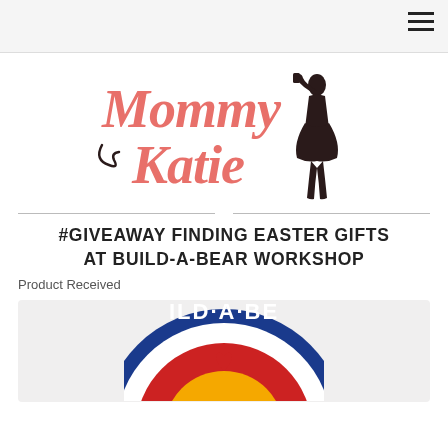[Figure (logo): Mommy Katie blog logo with stylized pink cursive text 'Mommy Katie' and a black silhouette of a woman in a dress]
#GIVEAWAY FINDING EASTER GIFTS AT BUILD-A-BEAR WORKSHOP
Product Received
[Figure (logo): Build-A-Bear Workshop circular logo, partially cropped, showing blue circle with red and yellow bear design]